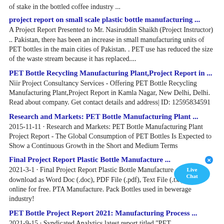of stake in the bottled coffee industry ...
project report on small scale plastic bottle manufacturing ...
A Project Report Presented to Mr. Nasiruddin Shaikh (Project Instructor) .. Pakistan, there has been an increase in small manufacturing units of PET bottles in the main cities of Pakistan. . PET use has reduced the size of the waste stream because it has replaced....
PET Bottle Recycling Manufacturing Plant,Project Report in ...
Niir Project Consultancy Services - Offering PET Bottle Recycling Manufacturing Plant,Project Report in Kamla Nagar, New Delhi, Delhi. Read about company. Get contact details and address| ID: 12595834591
Research and Markets: PET Bottle Manufacturing Plant ...
2015-11-11 · Research and Markets: PET Bottle Manufacturing Plant Project Report - The Global Consumption of PET Bottles Is Expected to Show a Continuous Growth in the Short and Medium Terms
Final Project Report Plastic Bottle Manufacture ...
2021-3-1 · Final Project Report Plastic Bottle Manufacture - Free download as Word Doc (.doc), PDF File (.pdf), Text File (.txt) or read online for free. PTA Manufacture. Pack Bottles used in bewerage industry!
PET Bottle Project Report 2021: Manufacturing Process ...
2021-9-15 · Syndicated Analytics latest report titled "PET ...